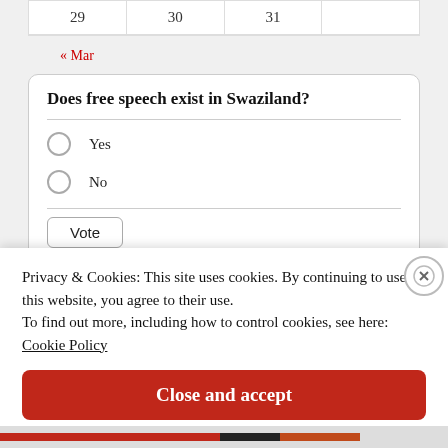| 29 | 30 | 31 |  |
| --- | --- | --- | --- |
« Mar
Does free speech exist in Swaziland?
Yes
No
Vote
Privacy & Cookies: This site uses cookies. By continuing to use this website, you agree to their use.
To find out more, including how to control cookies, see here:
Cookie Policy
Close and accept